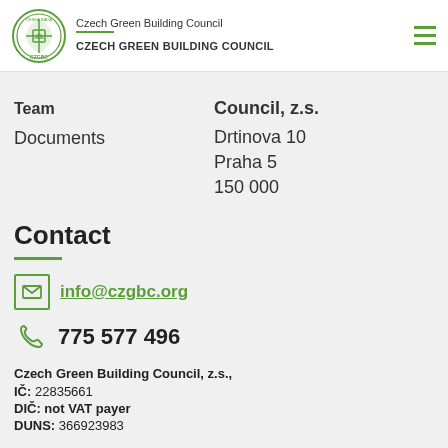Czech Green Building Council | CZECH GREEN BUILDING COUNCIL
Team
Council, z.s.
Documents
Drtinova 10
Praha 5
150 000
Contact
info@czgbc.org
775 577 496
Czech Green Building Council, z.s.,
IČ: 22835661
DIČ: not VAT payer
DUNS: 366923983